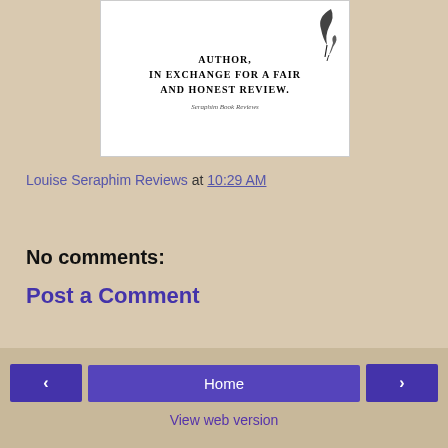[Figure (illustration): Book review badge image on white background with text 'AUTHOR, IN EXCHANGE FOR A FAIR AND HONEST REVIEW.' with feather illustrations and cursive text 'Seraphim Book Reviews']
Louise Seraphim Reviews at 10:29 AM
Share
No comments:
Post a Comment
‹  Home  › View web version